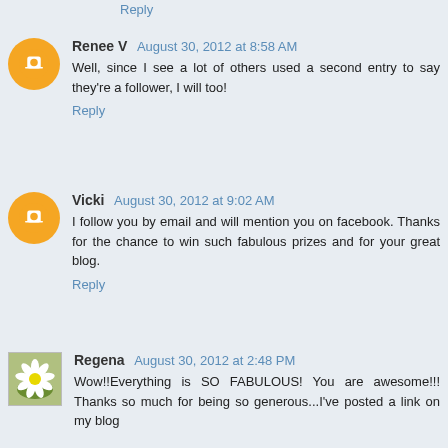Reply
Renee V  August 30, 2012 at 8:58 AM
Well, since I see a lot of others used a second entry to say they're a follower, I will too!
Reply
Vicki  August 30, 2012 at 9:02 AM
I follow you by email and will mention you on facebook. Thanks for the chance to win such fabulous prizes and for your great blog.
Reply
Regena  August 30, 2012 at 2:48 PM
Wow!!Everything is SO FABULOUS! You are awesome!!! Thanks so much for being so generous...I've posted a link on my blog